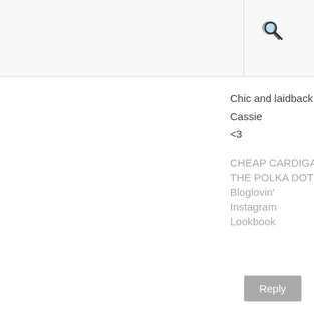Chic and laidback... ;) very cute!
Cassie
<3
CHEAP CARDIGAN SELECTION BY TBDRESS
THE POLKA DOT FROCK || DOTTY HISTORY
Bloglovin'
Instagram
Lookbook